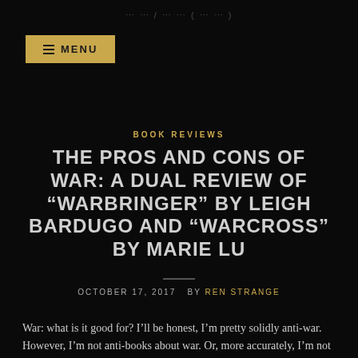BOOK REVIEWS
THE PROS AND CONS OF WAR: A DUAL REVIEW OF “WARBRINGER” BY LEIGH BARDUGO AND “WARCROSS” BY MARIE LU
OCTOBER 17, 2017  BY REN STRANGE
War: what is it good for? I’ll be honest, I’m pretty solidly anti-war. However, I’m not anti-books about war. Or, more accurately, I’m not against books with war in the title. Both